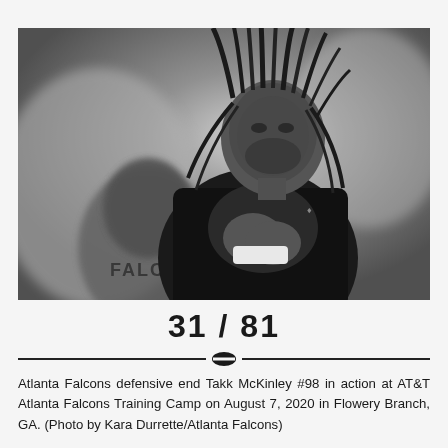[Figure (photo): Black and white photo of Atlanta Falcons defensive end Takk McKinley #98 at training camp, clasping hands together with dreadlocks, wearing a black sleeveless Falcons jersey. Another player in a mask and Falcons shirt is visible in the background.]
31 / 81
Atlanta Falcons defensive end Takk McKinley #98 in action at AT&T Atlanta Falcons Training Camp on August 7, 2020 in Flowery Branch, GA. (Photo by Kara Durrette/Atlanta Falcons)